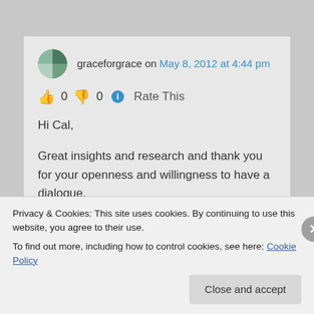graceforgrace on May 8, 2012 at 4:44 pm
👍 0 👎 0 ℹ Rate This
Hi Cal,
Great insights and research and thank you for your openness and willingness to have a dialogue.
I think Mormons could learn from you. We
Privacy & Cookies: This site uses cookies. By continuing to use this website, you agree to their use.
To find out more, including how to control cookies, see here: Cookie Policy
Close and accept